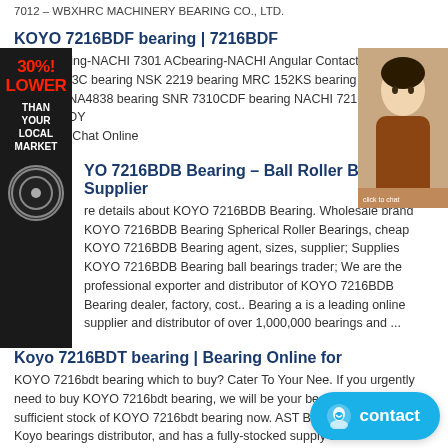7012 – WBXHRC MACHINERY BEARING CO., LTD.
KOYO 7216BDF bearing | 7216BDF
7301 bearing-NACHI 7301 ACbearing-NACHI Angular Contact . bearing FAG B7013C bearing NSK 2219 bearing MRC 152KS bearing SKF NU1088 bearing RNA4838 bearing SNR 7310CDF bearing NACHI 7216BDF bearing KOYO 7216BDF. Chat Online
KYO 7216BDB Bearing – Ball Roller Bearings Supplier
re details about KOYO 7216BDB Bearing. Wholesale brand KOYO 7216BDB Bearing Spherical Roller Bearings, cheap KOYO 7216BDB Bearing agent, sizes, supplier; Supplies KOYO 7216BDB Bearing ball bearings trader; We are the professional exporter and distributor of KOYO 7216BDB Bearing dealer, factory, cost.. Bearing a is a leading online supplier and distributor of over 1,000,000 bearings and ...
Koyo 7216BDT bearing | Bearing Online for
KOYO 7216bdt bearing which to buy? Cater To Your Nee. If you urgently need to buy KOYO 7216bdt bearing, we will be your best choice. We have sufficient stock of KOYO 7216bdt bearing now. AST Bearings is a certified Koyo bearings distributor, and has a fully-stocked supply direct
7216DT | KOYO 7216DT | KOYO Bearings High
KOYO bearing comapny was established in 1921 in Japan, stands for the